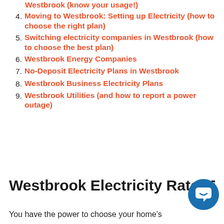Westbrook (know your usage!)
4. Moving to Westbrook: Setting up Electricity (how to choose the right plan)
5. Switching electricity companies in Westbrook (how to choose the best plan)
6. Westbrook Energy Companies
7. No-Deposit Electricity Plans in Westbrook
8. Westbrook Business Electricity Plans
9. Westbrook Utilities (and how to report a power outage)
Westbrook Electricity Rates T
You have the power to choose your home's